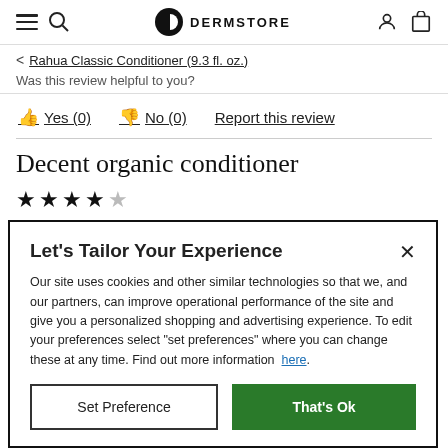DERMSTORE
< Rahua Classic Conditioner (9.3 fl. oz.)
Was this review helpful to you?
Yes (0)   No (0)   Report this review
Decent organic conditioner
[Figure (other): 4 out of 5 stars rating]
Let's Tailor Your Experience
Our site uses cookies and other similar technologies so that we, and our partners, can improve operational performance of the site and give you a personalized shopping and advertising experience. To edit your preferences select "set preferences" where you can change these at any time. Find out more information here.
Set Preference   That's Ok